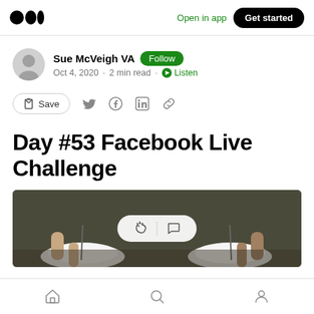Open in app  Get started
Sue McVeigh VA  Follow
Oct 4, 2020 · 2 min read · Listen
Save
Day #53 Facebook Live Challenge
[Figure (photo): Photo of two people at a table with white plates, shot from above]
Home  Search  Profile